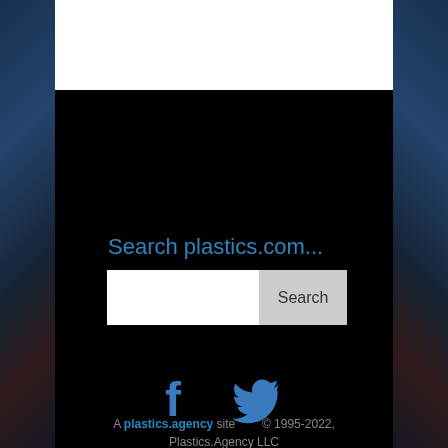Search plastics.com...
[Figure (screenshot): Search box with text input field and Search button]
[Figure (other): Facebook and Twitter social media icons]
A plastics.agency site   © 1995-2022, Plastics.Agency LLC